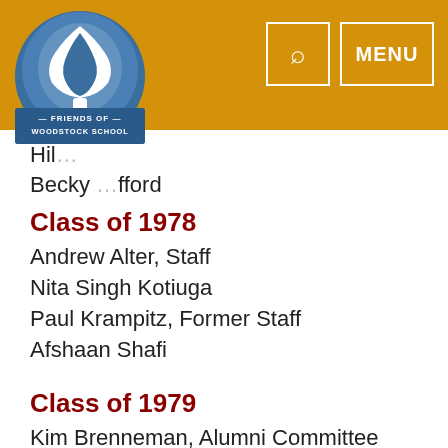[Figure (logo): Friends of Woodstock School circular logo with tree illustration in blue and white]
Hil…
Becky …fford
Class of 1978
Andrew Alter, Staff
Nita Singh Kotiuga
Paul Krampitz, Former Staff
Afshaan Shafi
Class of 1979
Kim Brenneman, Alumni Committee
Zafrullah (or Jewel) Hasan
Heather Hilliard
Bonita Janzen
Carol Klooster
Anita Luthra